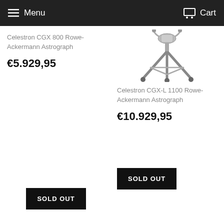Menu  Cart
Celestron CGX 800 Rowe-Ackermann Astrograph
€5.929,95
[Figure (photo): Telescope mount/tripod product photo on white background]
Celestron CGX-L 1100 Rowe-Ackermann Astrograph
€10.929,95
SOLD OUT
SOLD OUT
Skywatcher 130PDS Ota